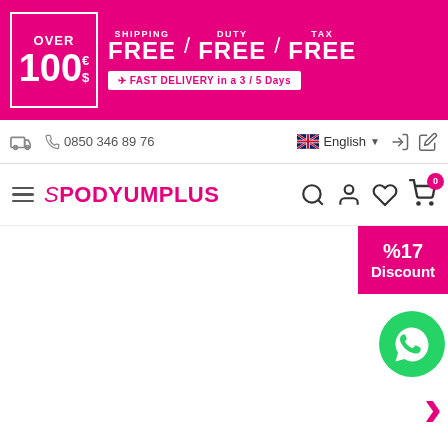[Figure (screenshot): E-commerce website banner showing OVER 100€/$ SHIPPING FREE / DUTY FREE / TAX FREE with FAST DELIVERY in a 3/5 Days]
0850 346 89 76 | English
SPODYUMPLUS
[Figure (infographic): %17 Discount badge in pink]
[Figure (logo): WhatsApp button]
[Figure (infographic): Right arrow navigation in pink]